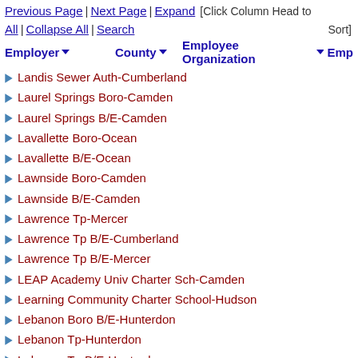Previous Page | Next Page | Expand All | Collapse All | Search    [Click Column Head to Sort]
| Employer | County | Employee Organization | Emp |
| --- | --- | --- | --- |
| Landis Sewer Auth-Cumberland |  |  |  |
| Laurel Springs Boro-Camden |  |  |  |
| Laurel Springs B/E-Camden |  |  |  |
| Lavallette Boro-Ocean |  |  |  |
| Lavallette B/E-Ocean |  |  |  |
| Lawnside Boro-Camden |  |  |  |
| Lawnside B/E-Camden |  |  |  |
| Lawrence Tp-Mercer |  |  |  |
| Lawrence Tp B/E-Cumberland |  |  |  |
| Lawrence Tp B/E-Mercer |  |  |  |
| LEAP Academy Univ Charter Sch-Camden |  |  |  |
| Learning Community Charter School-Hudson |  |  |  |
| Lebanon Boro B/E-Hunterdon |  |  |  |
| Lebanon Tp-Hunterdon |  |  |  |
| Lebanon Tp B/E-Hunterdon |  |  |  |
| Lenape Reg B/E-Burlington |  |  |  |
| Lenape Valley Reg HS B/E-Sussex |  |  |  |
| Leonia Boro-Bergen |  |  |  |